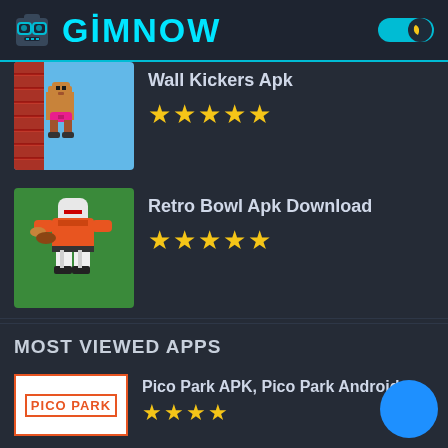GiMNOW
Wall Kickers Apk
★★★★★
Retro Bowl Apk Download
★★★★★
MOST VIEWED APPS
Pico Park APK, Pico Park Android APK **NEW 2021